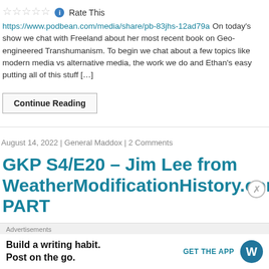☆☆☆☆☆ ℹ Rate This
https://www.podbean.com/media/share/pb-83jhs-12ad79a On today's show we chat with Freeland about her most recent book on Geo-engineered Transhumanism. To begin we chat about a few topics like modern media vs alternative media, the work we do and Ethan's easy putting all of this stuff [...]
Continue Reading
August 14, 2022 | General Maddox | 2 Comments
GKP S4/E20 – Jim Lee from WeatherModificationHistory.com PART
★★★★★ ℹ 1 Vote
https://www.podbean.com/media/share/pb-dmiwf-129a9da G'day Folks, Today Ethan who has done extensive research and dug deep to find out and publish as much as p...
Advertisements
Build a writing habit. Post on the go.
GET THE APP